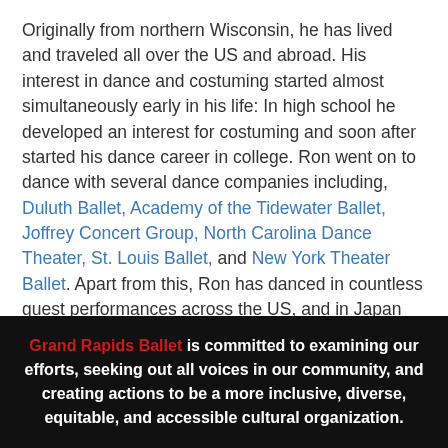Originally from northern Wisconsin, he has lived and traveled all over the US and abroad. His interest in dance and costuming started almost simultaneously early in his life: In high school he developed an interest for costuming and soon after started his dance career in college. Ron went on to dance with several dance companies including, Duluth Ballet, Academy of the Tidewater Ballet, Joffrey Concert Group, North Carolina Dance Theater, St. Louis Ballet, and New York Theater Ballet. Apart from this, Ron has danced in countless guest performances across the US, and in Japan and Iceland.
In total, he danced for over 20 memorable years, all
Grand Rapids Ballet is committed to examining our efforts, seeking out all voices in our community, and creating actions to be a more inclusive, diverse, equitable, and accessible cultural organization.